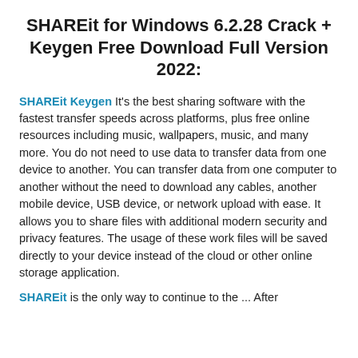SHAREit for Windows 6.2.28 Crack + Keygen Free Download Full Version 2022:
SHAREit Keygen It's the best sharing software with the fastest transfer speeds across platforms, plus free online resources including music, wallpapers, music, and many more. You do not need to use data to transfer data from one device to another. You can transfer data from one computer to another without the need to download any cables, another mobile device, USB device, or network upload with ease. It allows you to share files with additional modern security and privacy features. The usage of these work files will be saved directly to your device instead of the cloud or other online storage application.
SHAREit is the only way to continue to the ... After